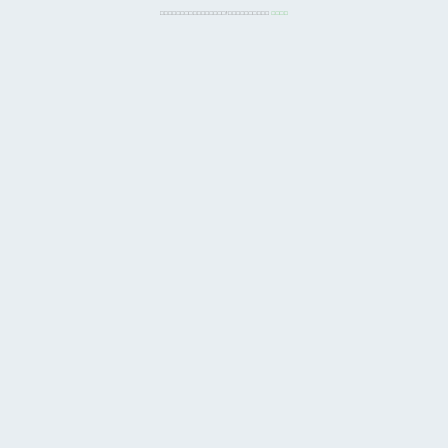□□□□□□□□□□□□□□□□!□□□□□□□□□□ □□□□